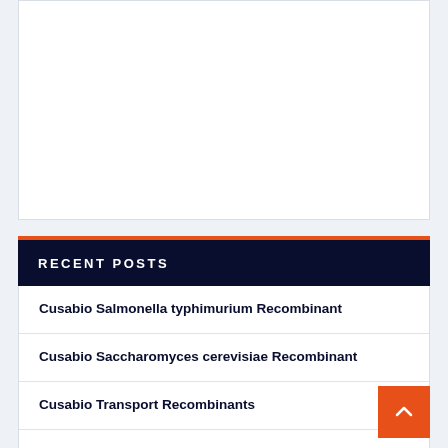[Figure (other): White box placeholder area at top of page]
RECENT POSTS
Cusabio Salmonella typhimurium Recombinant
Cusabio Saccharomyces cerevisiae Recombinant
Cusabio Transport Recombinants
Analysis and Modelling of Large and Heterogeneous